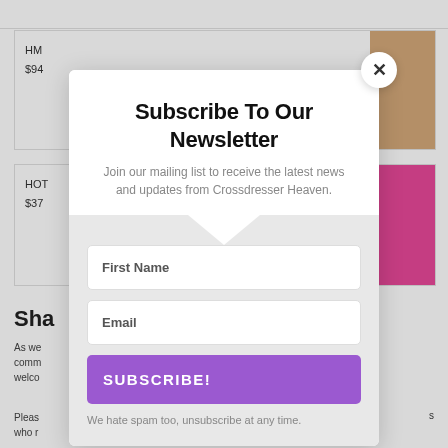HM
$94
HOT
$37
Sha
As we
comm
welco
Pleas
who r
Subscribe To Our Newsletter
Join our mailing list to receive the latest news and updates from Crossdresser Heaven.
First Name
Email
SUBSCRIBE!
We hate spam too, unsubscribe at any time.